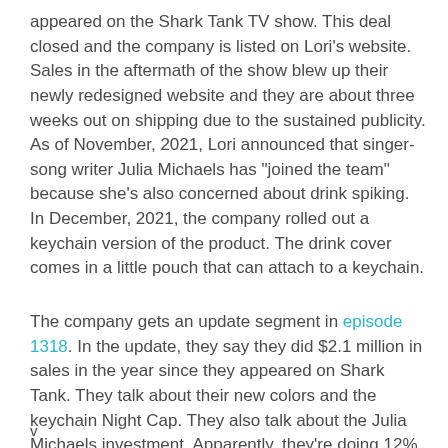appeared on the Shark Tank TV show. This deal closed and the company is listed on Lori's website. Sales in the aftermath of the show blew up their newly redesigned website and they are about three weeks out on shipping due to the sustained publicity. As of November, 2021, Lori announced that singer-song writer Julia Michaels has "joined the team" because she's also concerned about drink spiking. In December, 2021, the company rolled out a keychain version of the product. The drink cover comes in a little pouch that can attach to a keychain.
The company gets an update segment in episode 1318. In the update, they say they did $2.1 million in sales in the year since they appeared on Shark Tank. They talk about their new colors and the keychain Night Cap. They also talk about the Julia Michaels investment. Apparently, they're doing 12%
v